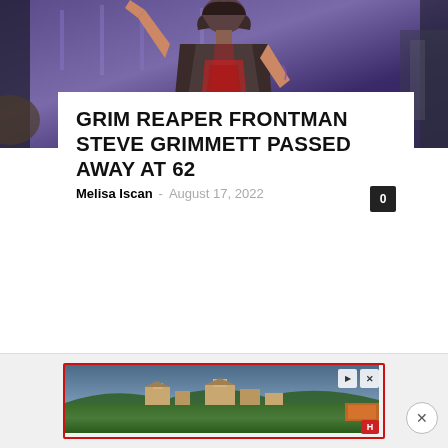[Figure (photo): Photo of a rock musician on stage, wearing a leather vest over a graphic t-shirt, with tattoos visible on arms, against a blue/purple stage background]
GRIM REAPER FRONTMAN STEVE GRIMMETT PASSED AWAY AT 62
Melisa Iscan - August 17, 2022
[Figure (photo): Advertisement banner showing a landscape with buildings and trees, with play and close controls]